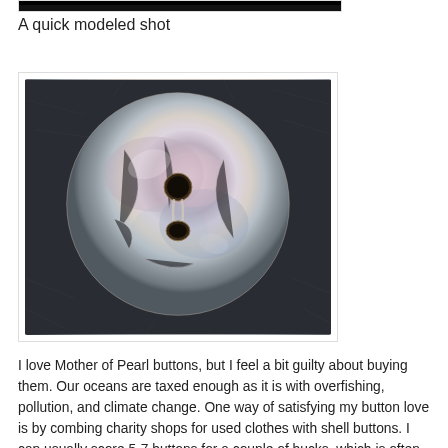[Figure (photo): Top portion of a photo (dark, mostly black) showing the bottom edge of a modeled shot image, cropped at the top of the page.]
A quick modeled shot
[Figure (photo): Close-up photograph of a large Mother of Pearl button with two holes, resting on a dark textured fabric/wool background. The button is round with an iridescent, pearlescent surface showing pinkish, bluish, and creamy tones with fine crack lines.]
I love Mother of Pearl buttons, but I feel a bit guilty about buying them. Our oceans are taxed enough as it is with overfishing, pollution, and climate change. One way of satisfying my button love is by combing charity shops for used clothes with shell buttons. I can usually score 5-7 buttons for a couple of bucks, which is often much cheaper than buying them new. I've amassed quite a nice collection